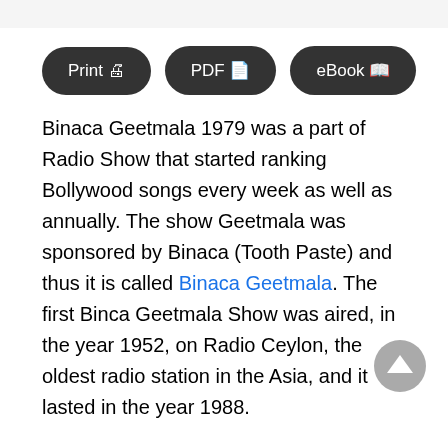[Figure (other): Three dark rounded-rectangle buttons labeled 'Print 🖨', 'PDF 📄', 'eBook 📖']
Binaca Geetmala 1979 was a part of Radio Show that started ranking Bollywood songs every week as well as annually. The show Geetmala was sponsored by Binaca (Tooth Paste) and thus it is called Binaca Geetmala. The first Binca Geetmala Show was aired, in the year 1952, on Radio Ceylon, the oldest radio station in the Asia, and it lasted in the year 1988.
After 1988, the show was shifted to Vividh Bharati of All India Radio and proceeded until 1994. The